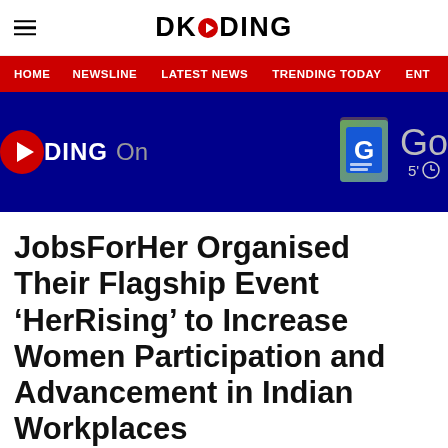DKODING
[Figure (screenshot): DKoding navigation bar with hamburger menu, logo, and red nav bar showing HOME, NEWSLINE, LATEST NEWS, TRENDING TODAY, ENT]
[Figure (screenshot): Dark blue banner with DKODING On text on left and Google News and Google icons on right with 5' timer]
JobsForHer Organised Their Flagship Event ‘HerRising’ to Increase Women Participation and Advancement in Indian Workplaces
ADVERTISEMENT